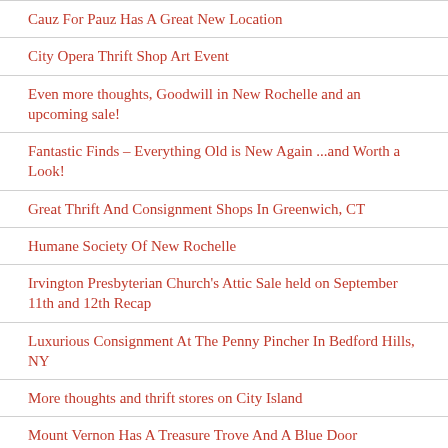Cauz For Pauz Has A Great New Location
City Opera Thrift Shop Art Event
Even more thoughts, Goodwill in New Rochelle and an upcoming sale!
Fantastic Finds – Everything Old is New Again ...and Worth a Look!
Great Thrift And Consignment Shops In Greenwich, CT
Humane Society Of New Rochelle
Irvington Presbyterian Church's Attic Sale held on September 11th and 12th Recap
Luxurious Consignment At The Penny Pincher In Bedford Hills, NY
More thoughts and thrift stores on City Island
Mount Vernon Has A Treasure Trove And A Blue Door